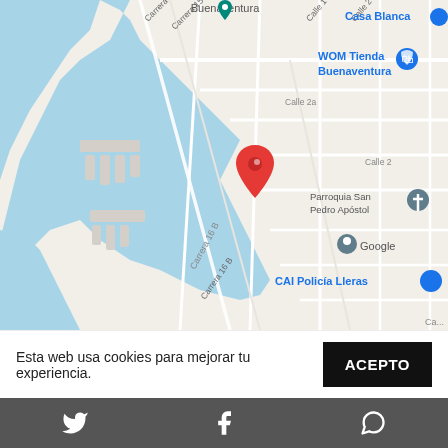[Figure (map): Google Maps screenshot showing coastal area of Buenaventura, Colombia, with streets labeled (Carrera 14, 15, 16B, 17d, Calle 1, 2, 2a), landmarks (WOM Tienda Buenaventura, Casa Blanca, Parroquia San Pedro Apóstol, CAI Policía Lleras, Google logo), a red location pin in the center, and blue water/ocean areas on the left side.]
Esta web usa cookies para mejorar tu experiencia.
ACEPTO
[Figure (other): Footer bar with Twitter, Facebook, and WhatsApp icons in white on dark gray background.]